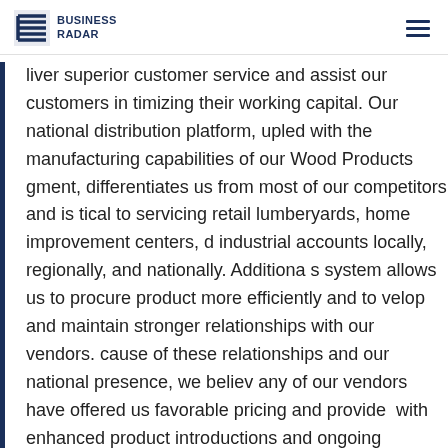BUSINESS RADAR
liver superior customer service and assist our customers in timizing their working capital. Our national distribution platform, upled with the manufacturing capabilities of our Wood Products gment, differentiates us from most of our competitors and is tical to servicing retail lumberyards, home improvement centers, d industrial accounts locally, regionally, and nationally. Additiona s system allows us to procure product more efficiently and to velop and maintain stronger relationships with our vendors. cause of these relationships and our national presence, we believ any of our vendors have offered us favorable pricing and provide with enhanced product introductions and ongoing marketing pport. Corporate and Other Our Corporate and Other segment cludes corporate support staff services, related assets and liabiliti nsion plan activity, and foreign currency exchange gains and loss pport services include, but are not limited to, information chnology, human resources, finance, accounting, and legal actions. 7